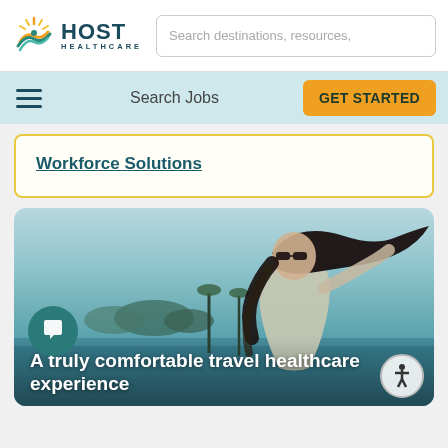[Figure (logo): Host Healthcare logo with sun/wave icon and text HOST HEALTHCARE]
Search destinations, resources,
Search Jobs
GET STARTED
Workforce Solutions
[Figure (photo): Woman with long dark hair and sunglasses viewed from side/behind, outdoors near water with coastal scenery, teal/blue tones]
A truly comfortable travel healthcare experience